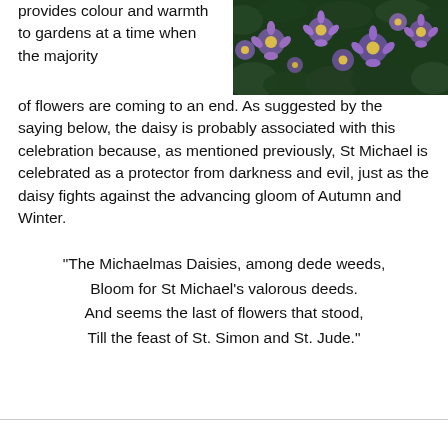provides colour and warmth to gardens at a time when the majority of flowers are coming to an end. As suggested by the saying below, the daisy is probably associated with this celebration because, as mentioned previously, St Michael is celebrated as a protector from darkness and evil, just as the daisy fights against the advancing gloom of Autumn and Winter.
[Figure (photo): Purple Michaelmas daisies in bloom, viewed from above, with many small purple flowers with yellow centres against green foliage]
“The Michaelmas Daisies, among dede weeds,
Bloom for St Michael’s valorous deeds.
And seems the last of flowers that stood,
Till the feast of St. Simon and St. Jude.”